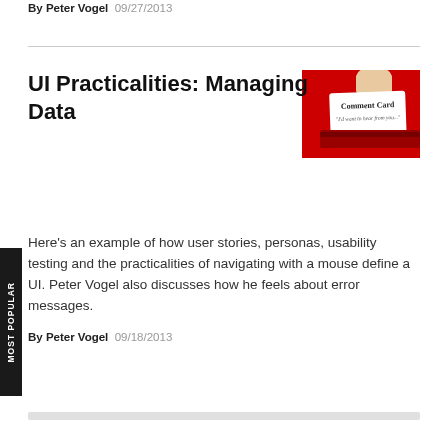By Peter Vogel 09/27/2013
UI Practicalities: Managing Data
[Figure (photo): A hand holding a white comment card over a red background. The card reads 'Comment Card' with smaller text below.]
Here's an example of how user stories, personas, usability testing and the practicalities of navigating with a mouse define a UI. Peter Vogel also discusses how he feels about error messages.
By Peter Vogel 09/18/2013